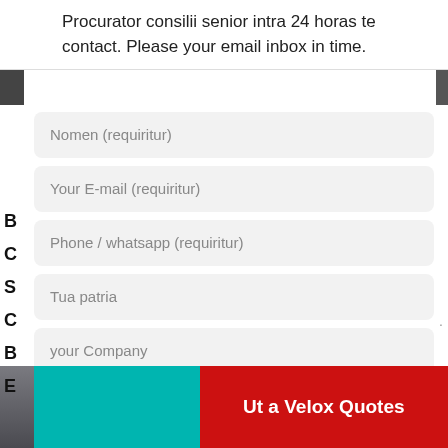Procurator consilii senior intra 24 horas te contact. Please your email inbox in time.
Nomen (requiritur)
Your E-mail (requiritur)
Phone / whatsapp (requiritur)
Tua patria
your Company
Quaeso requisita product, inter exemplar, materias rudis, capacitatem quotidianam, usus productorum finalium, etc.
Ut a Velox Quotes